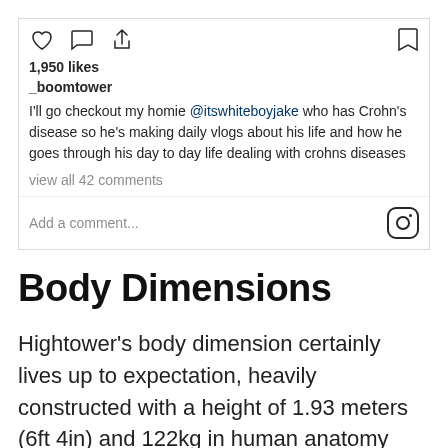[Figure (screenshot): Instagram post action bar with heart, comment, share icons on the left and bookmark icon on the right]
1,950 likes
_boomtower
I'll go checkout my homie @itswhiteboyjake who has Crohn's disease so he's making daily vlogs about his life and how he goes through his day to day life dealing with crohns diseases
view all 42 comments
Add a comment...
Body Dimensions
Hightower's body dimension certainly lives up to expectation, heavily constructed with a height of 1.93 meters (6ft 4in) and 122kg in human anatomy weight.He does a fantastic job of attempting to look